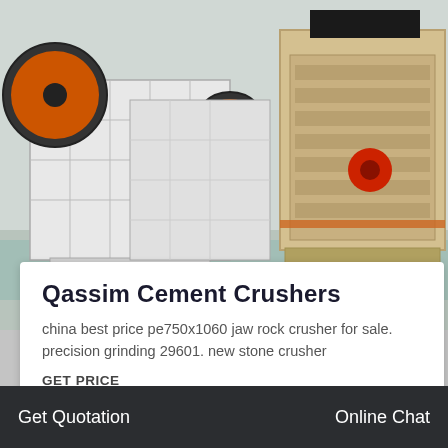[Figure (photo): Industrial crusher machines in a factory — white jaw crushers on left, tan/beige impact crusher on right, industrial floor setting]
Qassim Cement Crushers
china best price pe750x1060 jaw rock crusher for sale. precision grinding 29601. new stone crusher
GET PRICE
[Figure (photo): Bottom strip showing industrial cone/bowl machinery in dark tones]
Online
Get Quotation
Online Chat